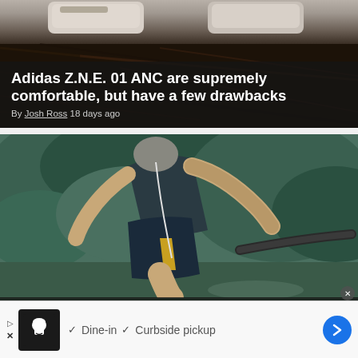[Figure (photo): Adidas Z.N.E. 01 ANC headphones resting on dark twigs/sticks background, white shoes partially visible at top]
Adidas Z.N.E. 01 ANC are supremely comfortable, but have a few drawbacks
By Josh Ross 18 days ago
[Figure (photo): Cyclist riding a road bike, wearing dark blue bib shorts with gold accents and dark jersey, earbud cable visible, green foliage background]
How do the Rapha Cargo Bibs compare to the Core version?
Dine-in  Curbside pickup